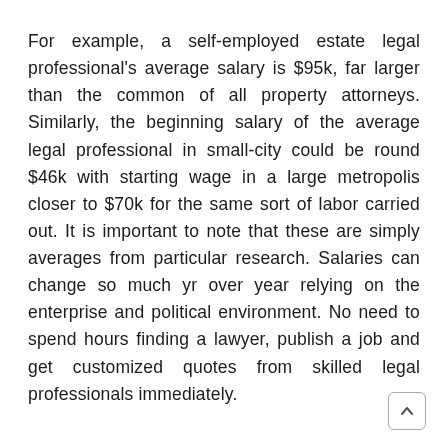For example, a self-employed estate legal professional's average salary is $95k, far larger than the common of all property attorneys. Similarly, the beginning salary of the average legal professional in small-city could be round $46k with starting wage in a large metropolis closer to $70k for the same sort of labor carried out. It is important to note that these are simply averages from particular research. Salaries can change so much yr over year relying on the enterprise and political environment. No need to spend hours finding a lawyer, publish a job and get customized quotes from skilled legal professionals immediately.